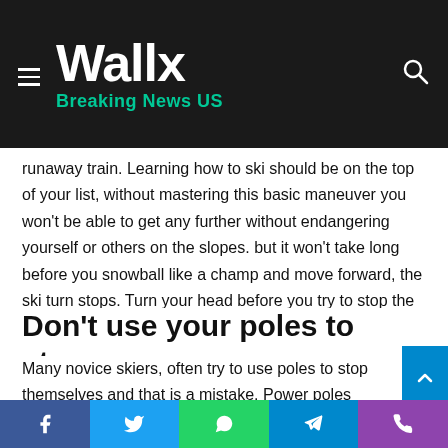Wallx Breaking News US
runaway train. Learning how to ski should be on the top of your list, without mastering this basic maneuver you won't be able to get any further without endangering yourself or others on the slopes. but it won't take long before you snowball like a champ and move forward, the ski turn stops. Turn your head before you try to stop the hockey stick.
Don't use your poles to stop.
Many novice skiers, often try to use poles to stop themselves and that is a mistake. Power poles can easily bend and you can injure yourself if you just rely on poles to stop. Read mo how to see who poked you on the Facebook app you're goin
Facebook Twitter WhatsApp Telegram Phone